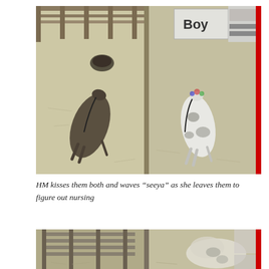[Figure (photo): CCTV overhead view of two animals (appears to be goats or sheep) lying on hay/straw bedding in a barn pen split into two stalls. Left stall has a dark-colored animal lying down; right stall has a spotted/white animal lying down. A sign reading 'Boy' is visible in the upper right area. The image has a red vertical bar on the right edge.]
HM kisses them both and waves “seeya” as she leaves them to figure out nursing
[Figure (photo): Partial CCTV overhead view of barn pen, similar setting with hay/straw bedding, fence rails visible, and animals partially in frame. Red vertical bar on right edge.]